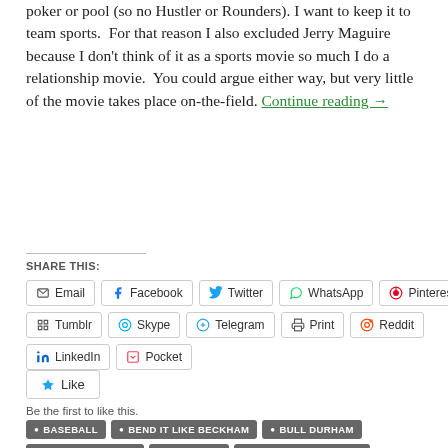poker or pool (so no Hustler or Rounders). I want to keep it to team sports. For that reason I also excluded Jerry Maguire because I don't think of it as a sports movie so much I do a relationship movie. You could argue either way, but very little of the movie takes place on-the-field. Continue reading →
SHARE THIS:
Email | Facebook | Twitter | WhatsApp | Pinterest | Tumblr | Skype | Telegram | Print | Reddit | LinkedIn | Pocket
Like
Be the first to like this.
BASEBALL
BEND IT LIKE BECKHAM
BULL DURHAM
FIELD OF DREAMS
FOOTBALL
FRIDAY NIGHT LIGHTS